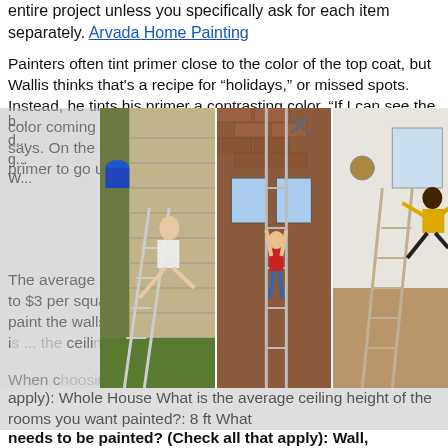entire project unless you specifically ask for each item separately. Arvada Home Painting
Painters often tint primer close to the color of the top coat, but Wallis thinks that's a recipe for "holidays," or missed spots. Instead, he tints his primer a contrasting color. "If I can see the color coming through, I know I need to apply more paint," he says. On the cottage shown in this story, he chose a gray-blue primer to go under a peach top coat.
The average cost to paint the interior of a house or room is $1 to $3 per square foot. Painters charge $1,200 to $3,900 to paint the walls in a house interior, and the cost to paint a room is ... the ceiling ... interior ...
[Figure (photo): Three-panel collage of people falling off ladders near houses and indoors. Left panel: person falling from ladder against tan-sided house with blue bucket. Middle panel: person in red climbing brick house exterior. Right panel: person in yellow shirt falling from ladder indoors.]
When choosing rooms to be painted ... (check all that apply): Whole House What is the average ceiling height of the rooms you want painted?: 8 ft What needs to be painted? (Check all that apply): Wall, Trim What is the occupancy of the house?: Empty of furniture or occupied Which let ...